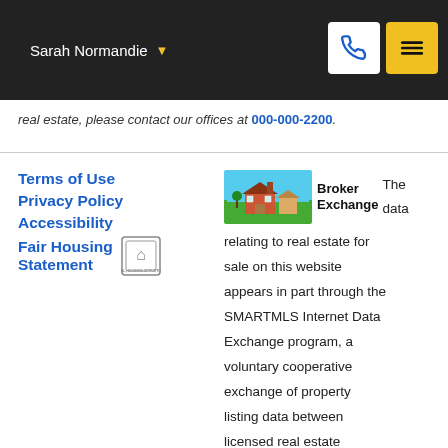Sarah Normandie
real estate, please contact our offices at 000-000-2200.
Terms of Use
Privacy Policy
Accessibility
Fair Housing Statement
Broker Exchange The data relating to real estate for sale on this website appears in part through the SMARTMLS Internet Data Exchange program, a voluntary cooperative exchange of property listing data between licensed real estate brokerage firms, and is